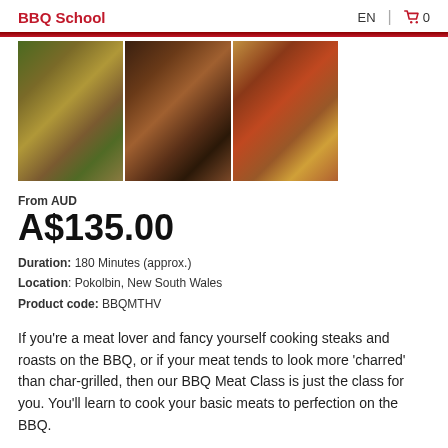BBQ School | EN 🛒 0
[Figure (photo): Three food photos showing grilled meats and dishes: herb-topped mushroom dishes on left, a thick steak with herbs in center, and sliced BBQ meat with garnish on right]
From AUD
A$135.00
Duration: 180 Minutes (approx.)
Location: Pokolbin, New South Wales
Product code: BBQMTHV
If you're a meat lover and fancy yourself cooking steaks and roasts on the BBQ, or if your meat tends to look more 'charred' than char-grilled, then our BBQ Meat Class is just the class for you. You'll learn to cook your basic meats to perfection on the BBQ.